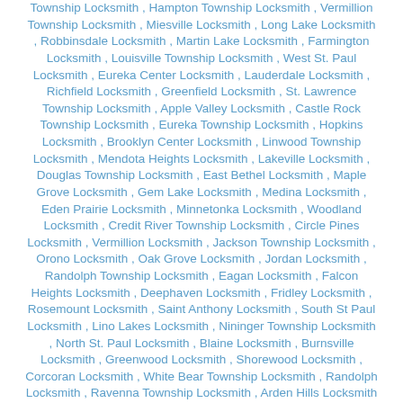Township Locksmith , Hampton Township Locksmith , Vermillion Township Locksmith , Miesville Locksmith , Long Lake Locksmith , Robbinsdale Locksmith , Martin Lake Locksmith , Farmington Locksmith , Louisville Township Locksmith , West St. Paul Locksmith , Eureka Center Locksmith , Lauderdale Locksmith , Richfield Locksmith , Greenfield Locksmith , St. Lawrence Township Locksmith , Apple Valley Locksmith , Castle Rock Township Locksmith , Eureka Township Locksmith , Hopkins Locksmith , Brooklyn Center Locksmith , Linwood Township Locksmith , Mendota Heights Locksmith , Lakeville Locksmith , Douglas Township Locksmith , East Bethel Locksmith , Maple Grove Locksmith , Gem Lake Locksmith , Medina Locksmith , Eden Prairie Locksmith , Minnetonka Locksmith , Woodland Locksmith , Credit River Township Locksmith , Circle Pines Locksmith , Vermillion Locksmith , Jackson Township Locksmith , Orono Locksmith , Oak Grove Locksmith , Jordan Locksmith , Randolph Township Locksmith , Eagan Locksmith , Falcon Heights Locksmith , Deephaven Locksmith , Fridley Locksmith , Rosemount Locksmith , Saint Anthony Locksmith , South St Paul Locksmith , Lino Lakes Locksmith , Nininger Township Locksmith , North St. Paul Locksmith , Blaine Locksmith , Burnsville Locksmith , Greenwood Locksmith , Shorewood Locksmith , Corcoran Locksmith , White Bear Township Locksmith , Randolph Locksmith , Ravenna Township Locksmith , Arden Hills Locksmith , St. Louis Park Locksmith , Helena Township Locksmith , Hanover Locksmith , Hampton Locksmith , Empire Township Locksmith , Minnetrista Locksmith , Saint Anthony Locksmith , New Prague Locksmith , New Brighton Locksmith , Lexington Locksmith , Belle Plaine Township Locksmith , Lilydale Locksmith , Prior Lake Locksmith , Maple Plain